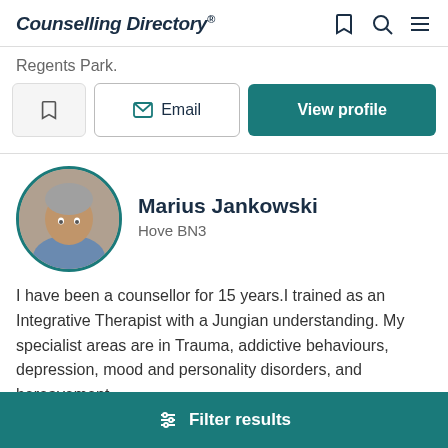Counselling Directory
Regents Park.
Email   View profile
Marius Jankowski
Hove BN3
I have been a counsellor for 15 years.I trained as an Integrative Therapist with a Jungian understanding. My specialist areas are in Trauma, addictive behaviours, depression, mood and personality disorders, and bereavement.
Filter results